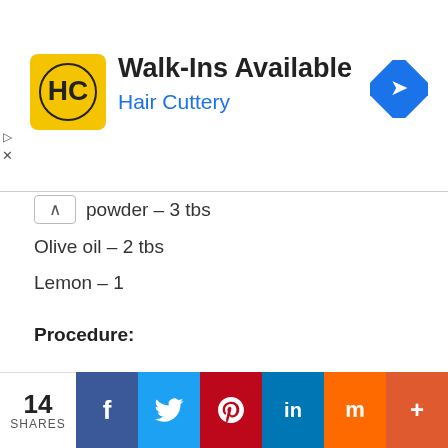[Figure (infographic): Hair Cuttery advertisement banner with logo, 'Walk-Ins Available' headline, and navigation icon]
powder – 3 tbs
Olive oil – 2 tbs
Lemon – 1
Procedure:
Mix all these ingredients before night with tea water and coffee powder  and apply this mixture next day morning completely to hair.
14 SHARES  f  t  p  in  m  +